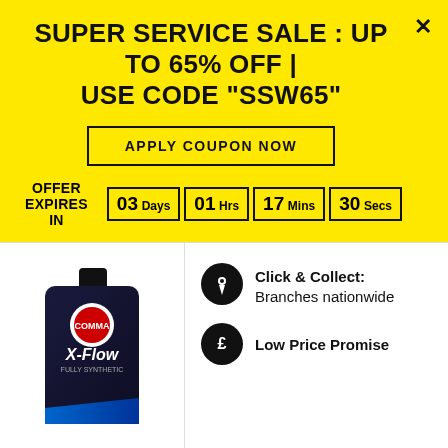SUPER SERVICE SALE : UP TO 65% OFF | USE CODE "SSW65"
APPLY COUPON NOW
OFFER EXPIRES IN  03 Days  01 Hrs  17 Mins  30 Secs
[Figure (photo): X-Flow motor oil bottle, dark blue/black container]
Click & Collect: Branches nationwide
Low Price Promise
65% OFF
COOKIES ON GSFCARPARTS.COM
We want to give you the best service by using cookies. Carry on browsing if your happy with this, or
find out how to manage your cookies.
£11.63 inc VAT
CHECK LOCAL STOCK >